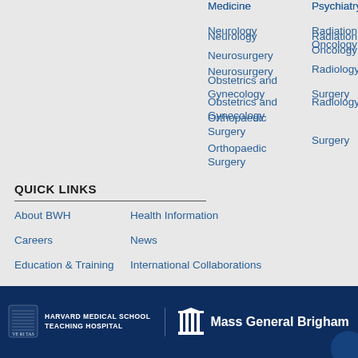Medicine
Psychiatry
Neurology
Radiation Oncology
Neurosurgery
Radiology
Obstetrics and Gynecology
Surgery
Orthopaedic Surgery
QUICK LINKS
About BWH
Health Information
Careers
News
Education & Training
International Collaborations
Giving
Services A-Z
[Figure (logo): Harvard Medical School Teaching Hospital logo with shield emblem, and Mass General Brigham logo with building icon, on dark navy footer bar]